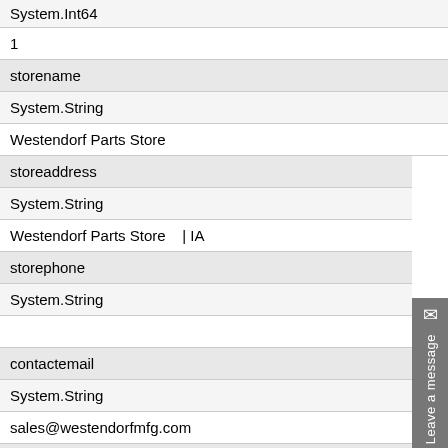System.Int64
1
storename
System.String
Westendorf Parts Store
storeaddress
System.String
Westendorf Parts Store    | IA
storephone
System.String
contactemail
System.String
sales@westendorfmfg.com
mfgdisplayname
System.String